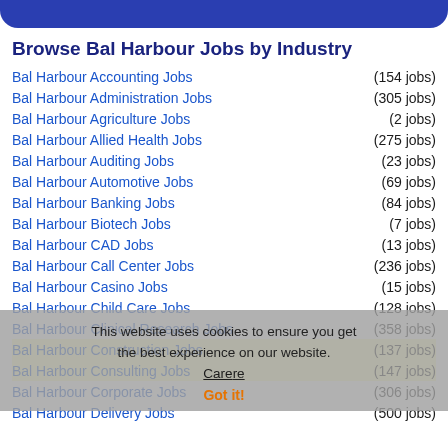Browse Bal Harbour Jobs by Industry
Bal Harbour Accounting Jobs (154 jobs)
Bal Harbour Administration Jobs (305 jobs)
Bal Harbour Agriculture Jobs (2 jobs)
Bal Harbour Allied Health Jobs (275 jobs)
Bal Harbour Auditing Jobs (23 jobs)
Bal Harbour Automotive Jobs (69 jobs)
Bal Harbour Banking Jobs (84 jobs)
Bal Harbour Biotech Jobs (7 jobs)
Bal Harbour CAD Jobs (13 jobs)
Bal Harbour Call Center Jobs (236 jobs)
Bal Harbour Casino Jobs (15 jobs)
Bal Harbour Child Care Jobs (128 jobs)
Bal Harbour Clinical Research Jobs (358 jobs)
Bal Harbour Construction Jobs (137 jobs)
Bal Harbour Consulting Jobs (147 jobs)
Bal Harbour Corporate Jobs (306 jobs)
Bal Harbour Delivery Jobs (500 jobs)